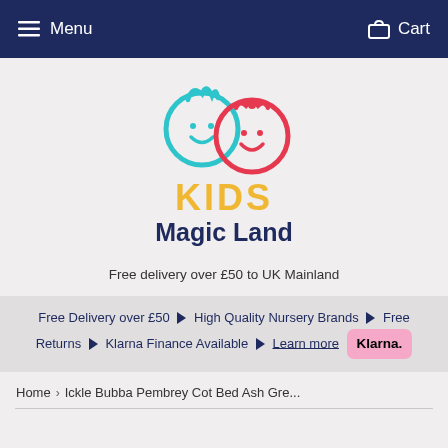Menu   Cart
[Figure (logo): Kids Magic Land logo: two smiley face circles (one cyan with blue hair, one red/pink with a bow), above the text KIDS in yellow and Magic Land in dark navy blue]
Free delivery over £50 to UK Mainland
Free Delivery over £50 ▶ High Quality Nursery Brands ▶ Free Returns ▶ Klarna Finance Available ▶ Learn more Klarna.
Home › Ickle Bubba Pembrey Cot Bed Ash Gre...